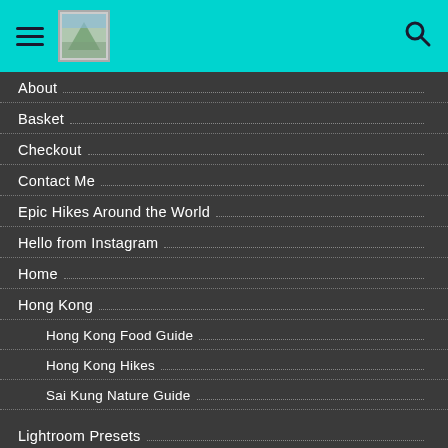Navigation menu header with hamburger icon, logo, and search icon
About
Basket
Checkout
Contact Me
Epic Hikes Around the World
Hello from Instagram
Home
Hong Kong
Hong Kong Food Guide
Hong Kong Hikes
Sai Kung Nature Guide
Lightroom Presets
Merch
Privacy Policy
Recommendations